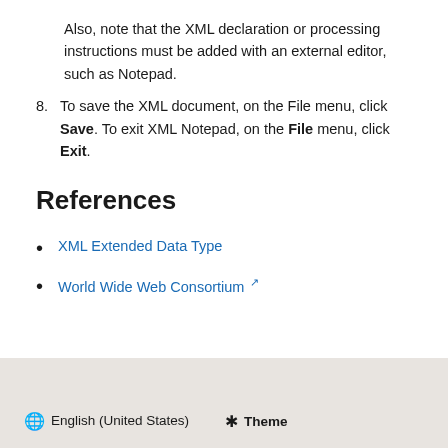Also, note that the XML declaration or processing instructions must be added with an external editor, such as Notepad.
8. To save the XML document, on the File menu, click Save. To exit XML Notepad, on the File menu, click Exit.
References
XML Extended Data Type
World Wide Web Consortium
English (United States)   Theme